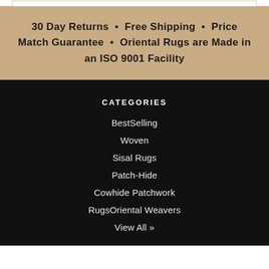30 Day Returns • Free Shipping • Price Match Guarantee • Oriental Rugs are Made in an ISO 9001 Facility
CATEGORIES
BestSelling
Woven
Sisal Rugs
Patch-Hide
Cowhide Patchwork
RugsOriental Weavers
View All »